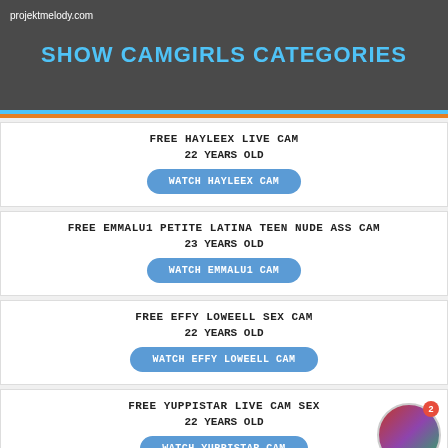projektmelody.com
SHOW CAMGIRLS CATEGORIES
FREE HAYLEEX LIVE CAM
22 YEARS OLD
WATCH HAYLEEX CAM
FREE EMMALU1 PETITE LATINA TEEN NUDE ASS CAM
23 YEARS OLD
WATCH EMMALU1 CAM
FREE EFFY LOWEELL SEX CAM
22 YEARS OLD
WATCH EFFY LOWEELL CAM
FREE YUPPISTAR LIVE CAM SEX
22 YEARS OLD
WATCH YUPPISTAR CAM
FREE PROJEKT MELODY CAM
18 YEARS OLD